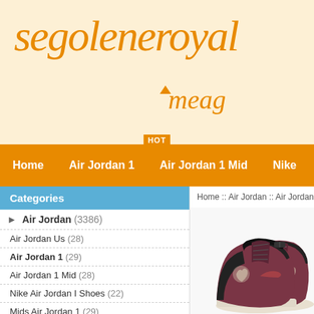segoleneroyal meag
Home  Air Jordan 1  Air Jordan 1 Mid  Nike
Home :: Air Jordan :: Air Jordan Pink :: a
Categories
Air Jordan (3386)
Air Jordan Us (28)
Air Jordan 1 (29)
Air Jordan 1 Mid (28)
Nike Air Jordan I Shoes (22)
Mids Air Jordan 1 (29)
Air Jordan 1 Lid (4)
Airjordan1 (29)
[Figure (photo): Air Jordan sneakers in black and dusty rose/mauve colorway, high-top style, shown as a pair]